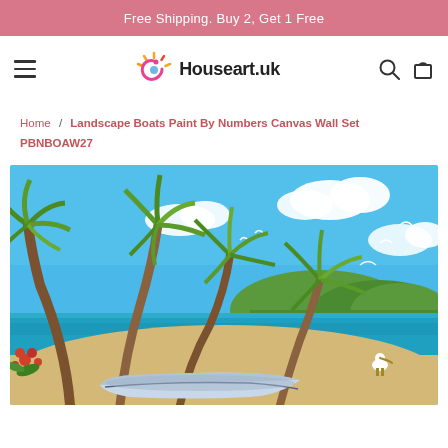Free Shipping. Buy 2, Get 1 Free
[Figure (logo): Houseart.uk logo with colorful sun/spiral icon and hamburger menu, search and cart icons]
Home / Landscape Boats Paint By Numbers Canvas Wall Set PBNBOAW27
[Figure (photo): Tropical beach scene painting with palm trees, turquoise sea, seagulls, green hills in background and a white boat in the foreground — a paint-by-numbers canvas artwork]